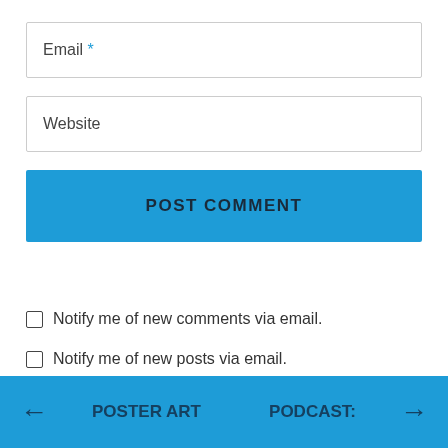Email *
Website
POST COMMENT
Notify me of new comments via email.
Notify me of new posts via email.
← POSTER ART   PODCAST: →